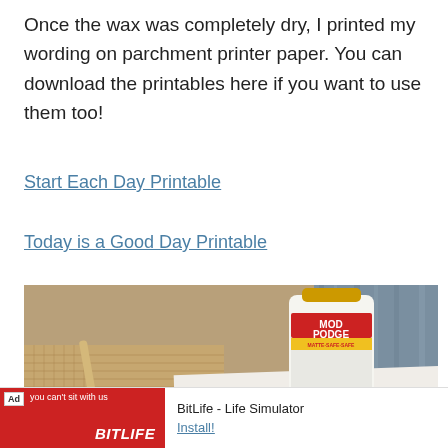Once the wax was completely dry, I printed my wording on parchment printer paper. You can download the printables here if you want to use them too!
Start Each Day Printable
Today is a Good Day Printable
[Figure (photo): Photo of a Mod Podge bottle and foam brush on a burlap/wood surface with the word 'start' visible in script lettering on parchment paper beneath]
BitLife - Life Simulator  Install!